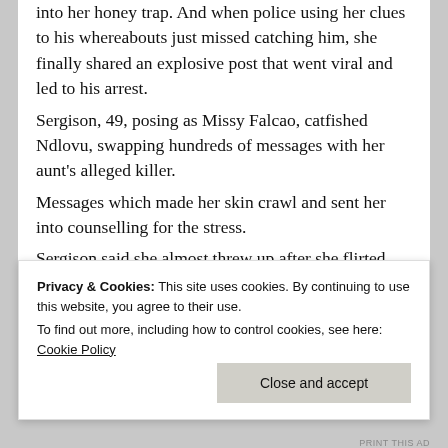into her honey trap. And when police using her clues to his whereabouts just missed catching him, she finally shared an explosive post that went viral and led to his arrest.
Sergison, 49, posing as Missy Falcao, catfished Ndlovu, swapping hundreds of messages with her aunt's alleged killer.
Messages which made her skin crawl and sent her into counselling for the stress.
Sergison said she almost threw up after she flirted with Ndlovu and had to have counselling to deal with the stress.
Privacy & Cookies: This site uses cookies. By continuing to use this website, you agree to their use.
To find out more, including how to control cookies, see here: Cookie Policy
Close and accept
PRINT THIS AD